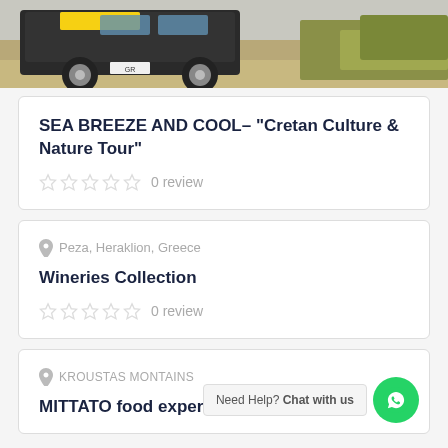[Figure (photo): Partial top view of a vehicle on a dirt road with dry vegetation in background]
SEA BREEZE AND COOL– "Cretan Culture & Nature Tour"
0 review
Peza, Heraklion, Greece
Wineries Collection
0 review
KROUSTAS MONTAINS
MITTATO food experience
Need Help? Chat with us